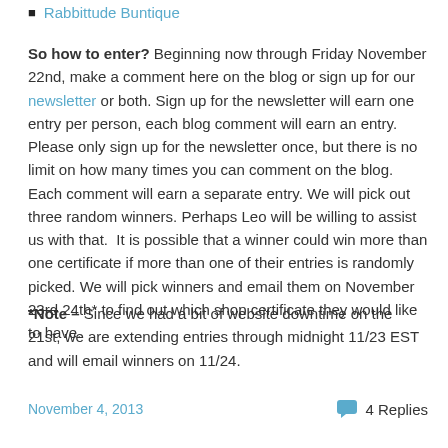Rabbittude Buntique
So how to enter? Beginning now through Friday November 22nd, make a comment here on the blog or sign up for our newsletter or both. Sign up for the newsletter will earn one entry per person, each blog comment will earn an entry. Please only sign up for the newsletter once, but there is no limit on how many times you can comment on the blog. Each comment will earn a separate entry. We will pick out three random winners. Perhaps Leo will be willing to assist us with that. It is possible that a winner could win more than one certificate if more than one of their entries is randomly picked. We will pick winners and email them on November 23rd 24th* to find out which shop certificate they would like to have.
*Note – Since we had a bit of website downtime on the 21st, we are extending entries through midnight 11/23 EST and will email winners on 11/24.
November 4, 2013   4 Replies